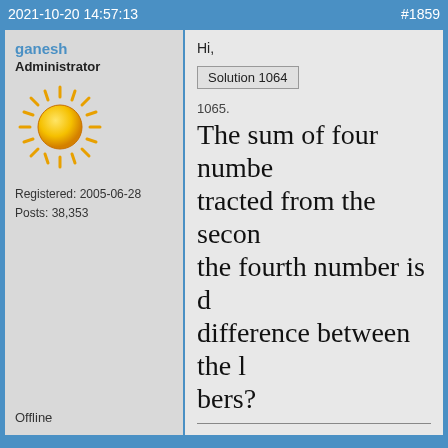2021-10-20 14:57:13    #1859
ganesh
Administrator
[Figure (illustration): Sun emoji / illustration - yellow sun with rays]
Registered: 2005-06-28
Posts: 38,353
Offline
Hi,
Solution 1064
1065.
The sum of four numbe tracted from the secon the fourth number is d difference between the l bers?
It appears to me that if one wants to make progress in mathematics, one should study the masters and not the pupils. - Niels Henrik Abel.

Nothing is better than reading and gaining more and more knowledge - Stephen William Hawking.